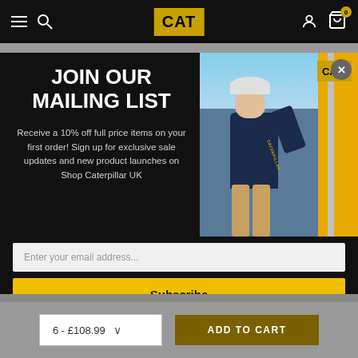CAT — navigation bar with hamburger, search, CAT logo, user and cart icons
[Figure (screenshot): CAT website mailing list signup modal popup. Left side: white bold text 'JOIN OUR MAILING LIST' with description 'Receive a 10% off full price items on your first order! Sign up for exclusive sale updates and new product launches on Shop Caterpillar UK'. Right side: photo of a man in Caterpillar branded hoodie climbing yellow machinery, with CAT logo top right. Below: email input field and yellow Subscribe button.]
JOIN OUR MAILING LIST
Receive a 10% off full price items on your first order! Sign up for exclusive sale updates and new product launches on Shop Caterpillar UK
Enter your email address...
Subscribe
6 - £108.99
ADD TO CART